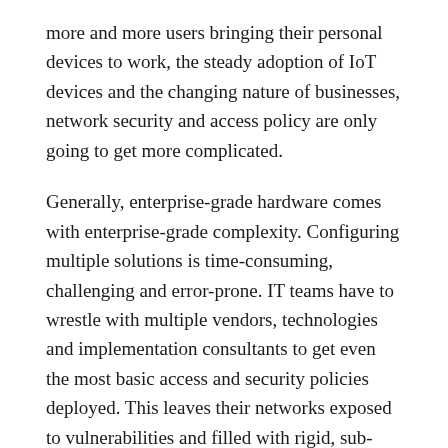more and more users bringing their personal devices to work, the steady adoption of IoT devices and the changing nature of businesses, network security and access policy are only going to get more complicated.
Generally, enterprise-grade hardware comes with enterprise-grade complexity. Configuring multiple solutions is time-consuming, challenging and error-prone. IT teams have to wrestle with multiple vendors, technologies and implementation consultants to get even the most basic access and security policies deployed. This leaves their networks exposed to vulnerabilities and filled with rigid, sub-optimal, and expensive hardware.
But with Cisco Meraki, IT teams no longer have to compromise.
IT teams can now combine the simplicity of the Meraki dashboard with the power of Cisco technology. Introducing